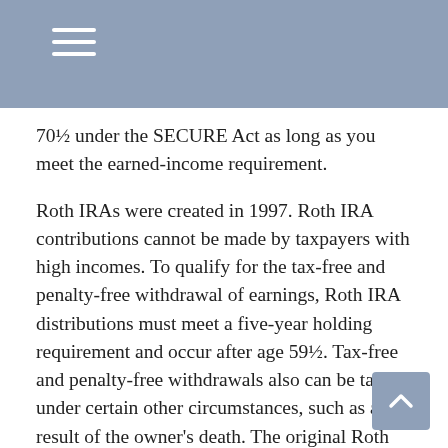70½ under the SECURE Act as long as you meet the earned-income requirement.
Roth IRAs were created in 1997. Roth IRA contributions cannot be made by taxpayers with high incomes. To qualify for the tax-free and penalty-free withdrawal of earnings, Roth IRA distributions must meet a five-year holding requirement and occur after age 59½. Tax-free and penalty-free withdrawals also can be taken under certain other circumstances, such as a result of the owner's death. The original Roth IRA owner is not required to take minimum annual withdrawals.
Defined Contribution Plans
Many workers are eligible to participate in a defined-